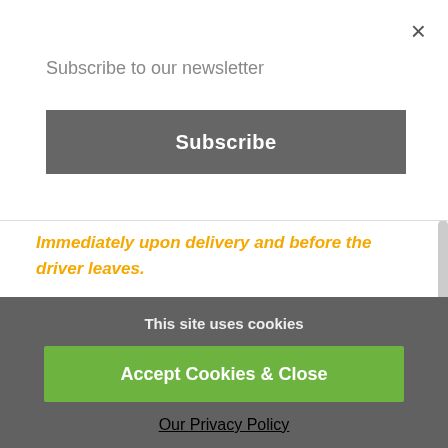Subscribe to our newsletter
×
Subscribe
Immediately upon delivery and before the driver leaves.
Important - Post Orders
Important - Covid 19 Statement
Revised Pricing
This site uses cookies
Accept Cookies & Close
Our Privacy Policy